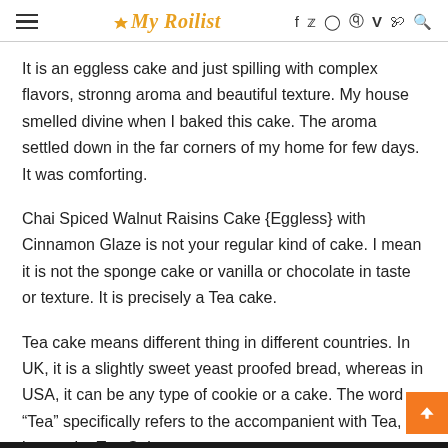My Roilist — navigation header with social icons
It is an eggless cake and just spilling with complex flavors, stronng aroma and beautiful texture. My house smelled divine when I baked this cake. The aroma settled down in the far corners of my home for few days. It was comforting.
Chai Spiced Walnut Raisins Cake {Eggless} with Cinnamon Glaze is not your regular kind of cake. I mean it is not the sponge cake or vanilla or chocolate in taste or texture. It is precisely a Tea cake.
Tea cake means different thing in different countries. In UK, it is a slightly sweet yeast proofed bread, whereas in USA, it can be any type of cookie or a cake. The word “Tea” specifically refers to the accompanient with Tea, hence the Tea Cake.